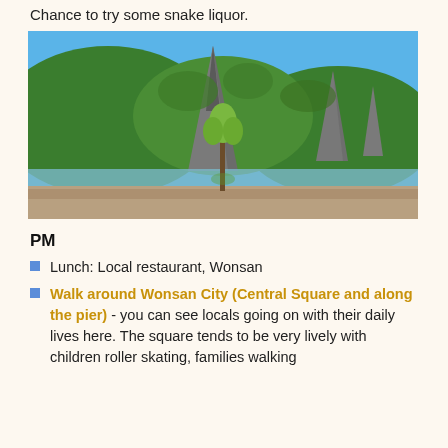Chance to try some snake liquor.
[Figure (photo): Dramatic rocky mountain peaks covered in green forest with a river and sandy shore in the foreground, and a young tree in the center. Blue sky above.]
PM
Lunch: Local restaurant, Wonsan
Walk around Wonsan City (Central Square and along the pier) - you can see locals going on with their daily lives here. The square tends to be very lively with children roller skating, families walking